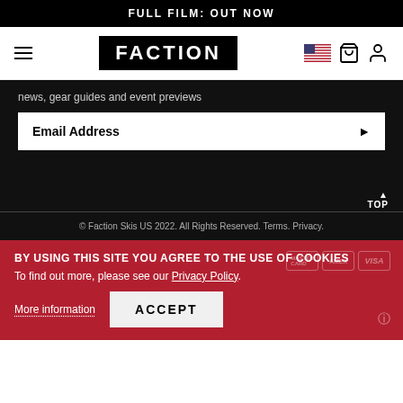FULL FILM: OUT NOW
[Figure (logo): Faction Skis navigation bar with hamburger menu, FACTION logo, US flag icon, cart icon, and user icon]
news, gear guides and event previews
Email Address
▲ TOP
© Faction Skis US 2022. All Rights Reserved. Terms. Privacy.
BY USING THIS SITE YOU AGREE TO THE USE OF COOKIES
To find out more, please see our Privacy Policy.
More information
ACCEPT